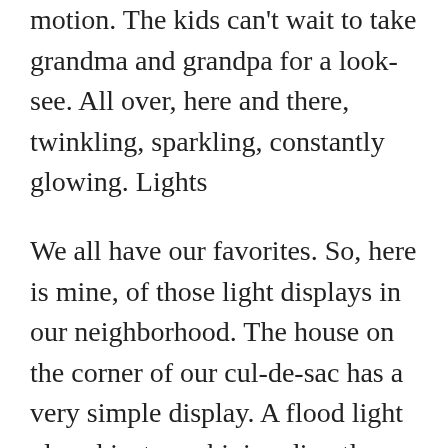motion. The kids can't wait to take grandma and grandpa for a look-see. All over, here and there, twinkling, sparkling, constantly glowing. Lights
We all have our favorites. So, here is mine, of those light displays in our neighborhood. The house on the corner of our cul-de-sac has a very simple display. A flood light placed just so, shining directly on a stable, with straw. Under the cover of the roof sit Mary and Joseph and between them, a small child in a feeding trough. Simple yet so complex.
Directly across the street, the house with all the